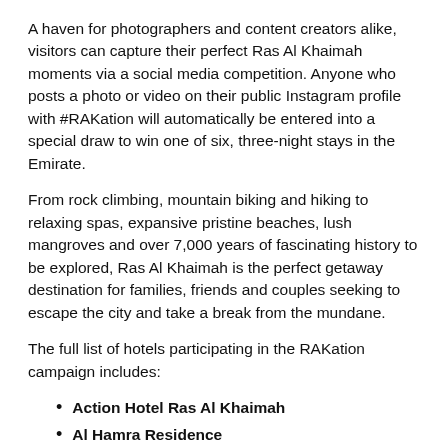A haven for photographers and content creators alike, visitors can capture their perfect Ras Al Khaimah moments via a social media competition. Anyone who posts a photo or video on their public Instagram profile with #RAKation will automatically be entered into a special draw to win one of six, three-night stays in the Emirate.
From rock climbing, mountain biking and hiking to relaxing spas, expansive pristine beaches, lush mangroves and over 7,000 years of fascinating history to be explored, Ras Al Khaimah is the perfect getaway destination for families, friends and couples seeking to escape the city and take a break from the mundane.
The full list of hotels participating in the RAKation campaign includes:
Action Hotel Ras Al Khaimah
Al Hamra Residence
Banan Beach
BM Beach Hotel
BM Beach Resort
City Max Ras Al Khaimah